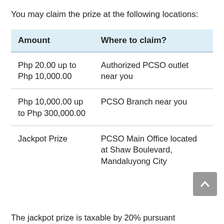You may claim the prize at the following locations:
| Amount | Where to claim? |
| --- | --- |
| Php 20.00 up to Php 10,000.00 | Authorized PCSO outlet near you |
| Php 10,000.00 up to Php 300,000.00 | PCSO Branch near you |
| Jackpot Prize | PCSO Main Office located at Shaw Boulevard, Mandaluyong City |
The jackpot prize is taxable by 20% pursuant